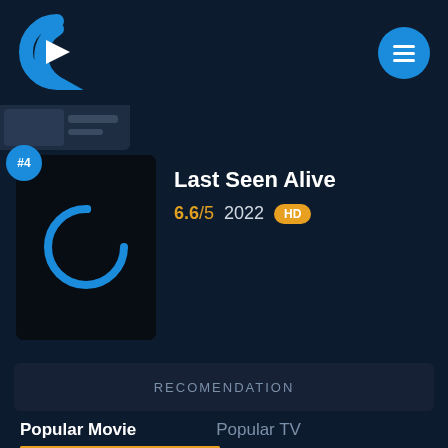[Figure (logo): Streaming app logo: blue C-shape with white play triangle inside, on dark navy background]
[Figure (screenshot): Circular blue menu/hamburger button in top right corner with 3 white horizontal lines]
[Figure (screenshot): Partially visible movie thumbnail strip at top of content area]
#4
[Figure (screenshot): Movie thumbnail for 'Last Seen Alive' - black background with blue loading circle icon]
Last Seen Alive
6.6/5  2022  HD
RECOMENDATION
Popular Movie
Popular TV
The Next 365 Days